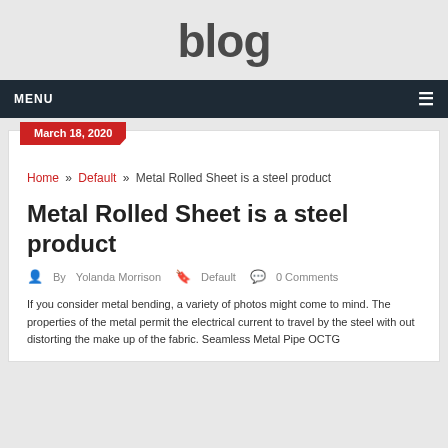blog
MENU
March 18, 2020
Home » Default » Metal Rolled Sheet is a steel product
Metal Rolled Sheet is a steel product
By Yolanda Morrison   Default   0 Comments
If you consider metal bending, a variety of photos might come to mind. The properties of the metal permit the electrical current to travel by the steel with out distorting the make up of the fabric. Seamless Metal Pipe OCTG...